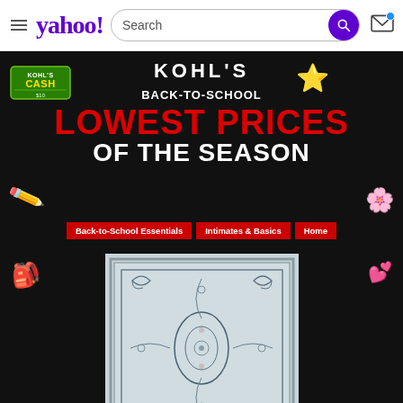Yahoo! Search
[Figure (screenshot): Kohl's Back-to-School advertisement banner on black background. Shows Kohl's Cash badge top-left, star decoration top-right, 'KOHL'S' logo, 'BACK-TO-SCHOOL', 'LOWEST PRICES OF THE SEASON' text, and navigation buttons: Back-to-School Essentials, Intimates & Basics, Home]
[Figure (photo): A decorative area rug with traditional/vintage Persian-style pattern in light blue, grey, and cream tones displayed on white background]